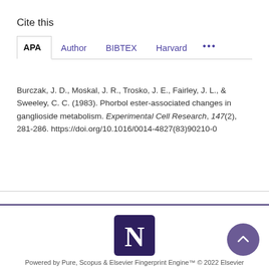Cite this
APA  Author  BIBTEX  Harvard  ...
Burczak, J. D., Moskal, J. R., Trosko, J. E., Fairley, J. L., & Sweeley, C. C. (1983). Phorbol ester-associated changes in ganglioside metabolism. Experimental Cell Research, 147(2), 281-286. https://doi.org/10.1016/0014-4827(83)90210-0
[Figure (logo): Northwestern University logo - letter N on dark purple square background]
Powered by Pure, Scopus & Elsevier Fingerprint Engine™ © 2022 Elsevier